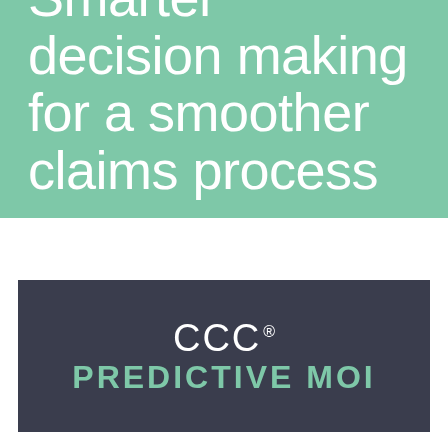Smarter decision making for a smoother claims process
[Figure (logo): CCC® PREDICTIVE MOI logo on dark navy background]